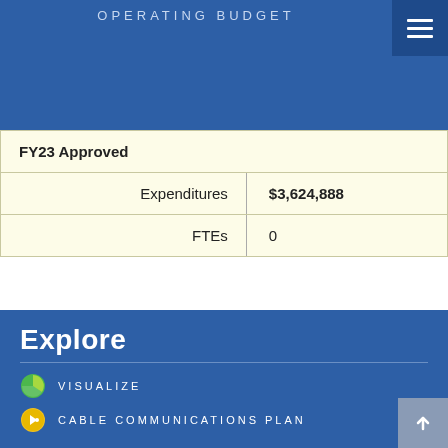OPERATING BUDGET
| FY23 Approved |  |
| --- | --- |
| Expenditures | $3,624,888 |
| FTEs | 0 |
Explore
VISUALIZE
CABLE COMMUNICATIONS PLAN